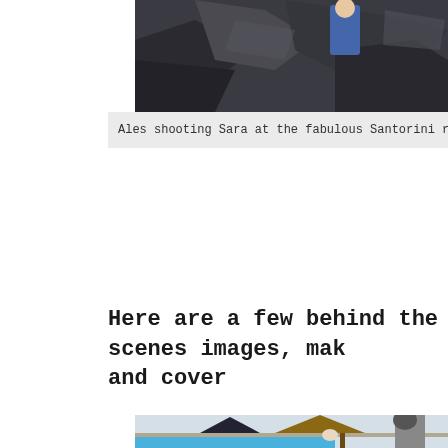[Figure (photo): Top portion of a photo showing people at Santorini rocks with dark rocky background]
Ales shooting Sara at the fabulous Santorini rocks. This image
Here are a few behind the scenes images, mak and cover
[Figure (photo): Behind the scenes photo shoot at a pool area with Santorini backdrop. A photographer with a cap shoots a model seated by the pool, with a large octagonal softbox on a tripod, thatched umbrellas, and lounge chairs visible.]